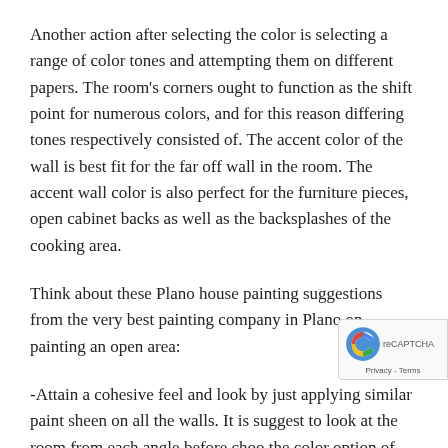Another action after selecting the color is selecting a range of color tones and attempting them on different papers. The room's corners ought to function as the shift point for numerous colors, and for this reason differing tones respectively consisted of. The accent color of the wall is best fit for the far off wall in the room. The accent wall color is also perfect for the furniture pieces, open cabinet backs as well as the backsplashes of the cooking area.
Think about these Plano house painting suggestions from the very best painting company in Plano on painting an open area:
-Attain a cohesive feel and look by just applying similar paint sheen on all the walls. It is suggest to look at the room from each angle before choo the color option of space, from which two various